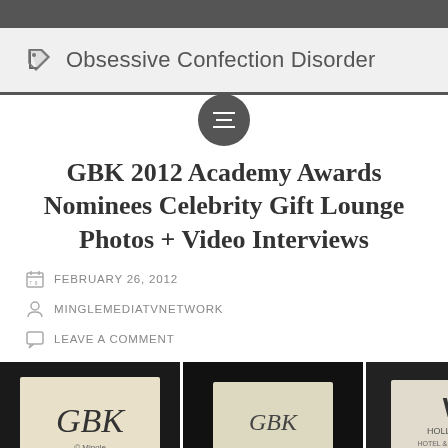Obsessive Confection Disorder
GBK 2012 Academy Awards Nominees Celebrity Gift Lounge Photos + Video Interviews
FEBRUARY 26, 2012
MINGLEMEDIATVNETWORK
LEAVE A COMMENT
[Figure (photo): Strip of thumbnail photos from GBK 2012 Academy Awards gift lounge, showing GBK logo signs, W Hollywood Hotel sign, event signage, and a woman at a booth]